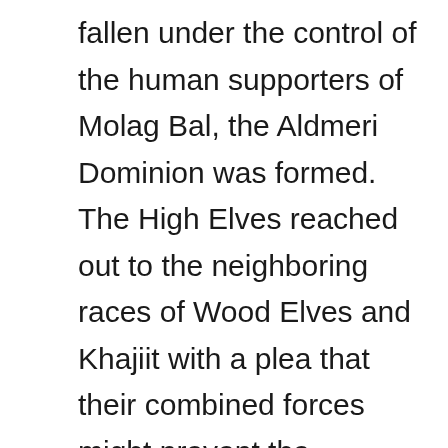fallen under the control of the human supporters of Molag Bal, the Aldmeri Dominion was formed. The High Elves reached out to the neighboring races of Wood Elves and Khajiit with a plea that their combined forces might prevent the younger races of Tamriel from bringing disaster to the world, as they had so many times in the past. The High Elves were the original settlers of Tamriel and created the common tongue used throughout the continent today. They are also naturally proficient with magic. The Wood Elves inhabit the thick, near-impenetrable forests of Valenwood. They are supreme